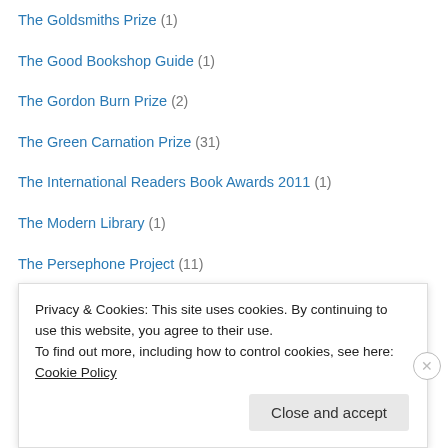The Goldsmiths Prize (1)
The Good Bookshop Guide (1)
The Gordon Burn Prize (2)
The Green Carnation Prize (31)
The International Readers Book Awards 2011 (1)
The Modern Library (1)
The Persephone Project (11)
The Point Horror Book Club (3)
The Prose Practise (12)
The Readers (2)
The Readers Podcast (15)
The Readers Roadtrip (7)
The Readers Summer Book Club (8)
Theatre (1)
Privacy & Cookies: This site uses cookies. By continuing to use this website, you agree to their use. To find out more, including how to control cookies, see here: Cookie Policy
Close and accept